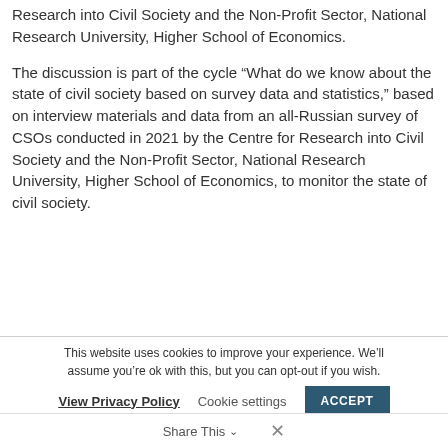Research into Civil Society and the Non-Profit Sector, National Research University, Higher School of Economics.
The discussion is part of the cycle “What do we know about the state of civil society based on survey data and statistics,” based on interview materials and data from an all-Russian survey of CSOs conducted in 2021 by the Centre for Research into Civil Society and the Non-Profit Sector, National Research University, Higher School of Economics, to monitor the state of civil society.
This website uses cookies to improve your experience. We’ll assume you’re ok with this, but you can opt-out if you wish.
View Privacy Policy   Cookie settings   ACCEPT
Share This